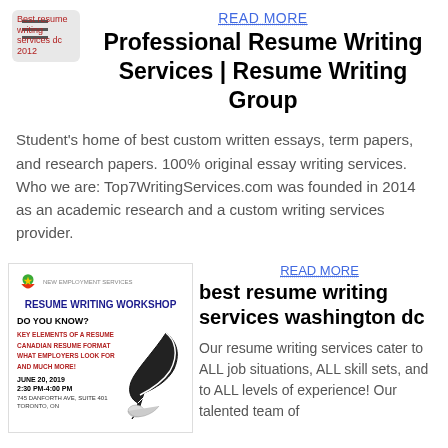[Figure (logo): Hamburger menu icon with logo text 'Best resume writing services dc 2012' in red on gray background]
READ MORE
Professional Resume Writing Services | Resume Writing Group
Student's home of best custom written essays, term papers, and research papers. 100% original essay writing services. Who we are: Top7WritingServices.com was founded in 2014 as an academic research and a custom writing services provider.
[Figure (infographic): Resume Writing Workshop flyer with New Employment Services logo, quill and hand illustration, listing: KEY ELEMENTS OF A RESUME, CANADIAN RESUME FORMAT, WHAT EMPLOYERS LOOK FOR, AND MUCH MORE! Date: JUNE 20, 2019, 2:30 PM-4:00 PM, 745 DANFORTH AVE, SUITE 401, TORONTO, ON]
READ MORE
best resume writing services washington dc
Our resume writing services cater to ALL job situations, ALL skill sets, and to ALL levels of experience! Our talented team of